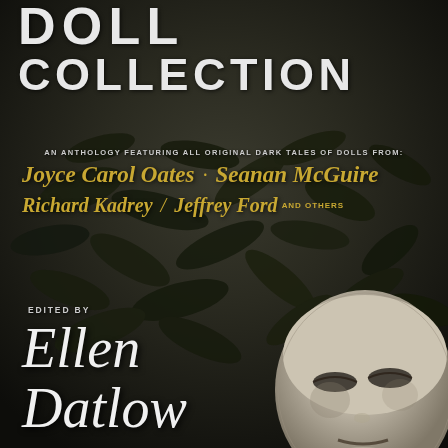[Figure (photo): Book cover of 'The Doll Collection' edited by Ellen Datlow. Dark background with dried leaves and a pale bald doll head with closed eyes lying among the leaves. Moody black and white photograph.]
DOLL COLLECTION
AN ANTHOLOGY FEATURING ALL ORIGINAL DARK TALES OF DOLLS FROM:
Joyce Carol Oates · Seanan McGuire
Richard Kadrey / Jeffrey Ford AND OTHERS
EDITED BY
Ellen Datlow